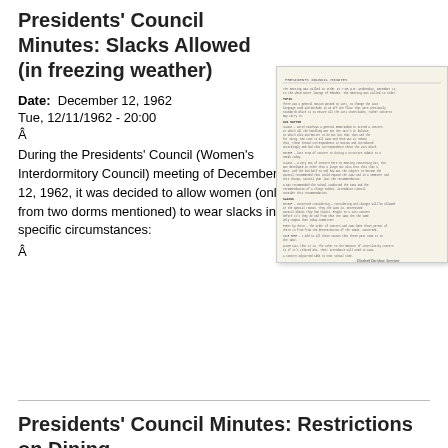Presidents' Council Minutes: Slacks Allowed (in freezing weather)
Date:  December 12, 1962
Tue, 12/11/1962 - 20:00
Â
During the Presidents' Council (Women's Interdormitory Council) meeting of December 12, 1962, it was decided to allow women (only from two dorms mentioned) to wear slacks in specific circumstances:
Â
[Figure (photo): Scanned typewritten document page showing Presidents' Council meeting minutes from December 12, 1962, with typed text about slacks policy and a handwritten signature at the bottom.]
Presidents' Council Minutes: Restrictions on Dining